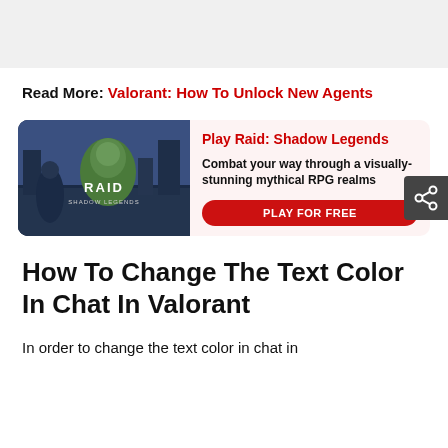[Figure (illustration): Gray banner/advertisement area at top of page]
Read More: Valorant: How To Unlock New Agents
[Figure (infographic): Play Raid: Shadow Legends advertisement card with game image on left and text/button on right. Title: Play Raid: Shadow Legends. Description: Combat your way through a visually-stunning mythical RPG realms. Button: PLAY FOR FREE]
How To Change The Text Color In Chat In Valorant
In order to change the text color in chat in